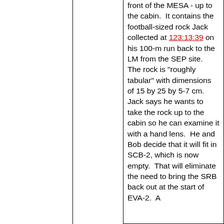front of the MESA - up to the cabin.  It contains the football-sized rock Jack collected at 123:13:39 on his 100-m run back to the LM from the SEP site.  The rock is "roughly tabular" with dimensions of 15 by 25 by 5-7 cm.  Jack says he wants to take the rock up to the cabin so he can examine it with a hand lens.  He and Bob decide that it will fit in SCB-2, which is now empty.  That will eliminate the need to bring the SRB back out at the start of EVA-2.  A